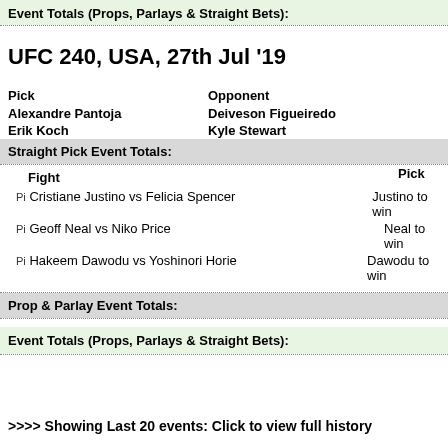Event Totals (Props, Parlays & Straight Bets):
UFC 240, USA, 27th Jul '19
| Pick | Opponent |
| --- | --- |
| Alexandre Pantoja | Deiveson Figueiredo |
| Erik Koch | Kyle Stewart |
Straight Pick Event Totals:
| Fight | Pick |
| --- | --- |
| Pi Cristiane Justino vs Felicia Spencer | Justino to win |
| Pi Geoff Neal vs Niko Price | Neal to win |
| Pi Hakeem Dawodu vs Yoshinori Horie | Dawodu to win |
Prop & Parlay Event Totals:
Event Totals (Props, Parlays & Straight Bets):
>>>> Showing Last 20 events: Click to view full history